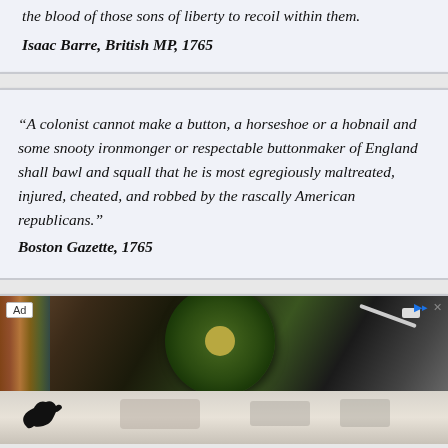the blood of those sons of liberty to recoil within them.
Isaac Barre, British MP, 1765
“A colonist cannot make a button, a horseshoe or a hobnail and some snooty ironmonger or respectable buttonmaker of England shall bawl and squall that he is most egregiously maltreated, injured, cheated, and robbed by the rascally American republicans.”
Boston Gazette, 1765
[Figure (photo): Advertisement showing a vinyl record on a turntable, with Puma logo visible, and a lighter/accessory image below.]